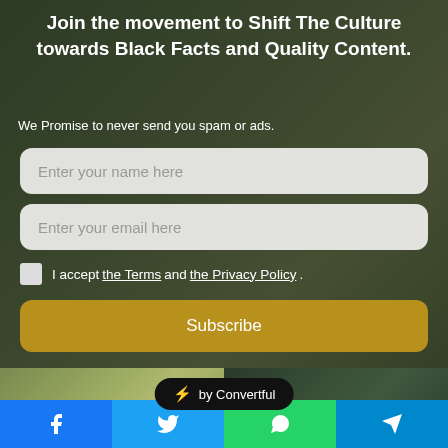Join the movement to Shift The Culture towards Black Facts and Quality Content.
We Promise to never send you spam or ads.
Enter your name here
Enter your email here
I accept the Terms and the Privacy Policy.
Subscribe
[Figure (screenshot): Convertful badge overlay with lightning bolt icon and text 'by Convertful']
[Figure (photo): Two article thumbnail images side by side]
Thai YouTuber Vanishes After Allegedly Cheating Her Followers Out Of $55M
6 seconds ago
11 Actual Facts And Numbers Black America Needs To Know
2 mins ago
[Figure (infographic): Social share bar with Facebook, Twitter, WhatsApp, and Telegram icons]